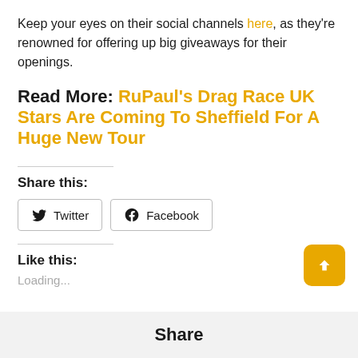Keep your eyes on their social channels here, as they're renowned for offering up big giveaways for their openings.
Read More: RuPaul's Drag Race UK Stars Are Coming To Sheffield For A Huge New Tour
Share this:
Twitter  Facebook
Like this:
Loading...
Share